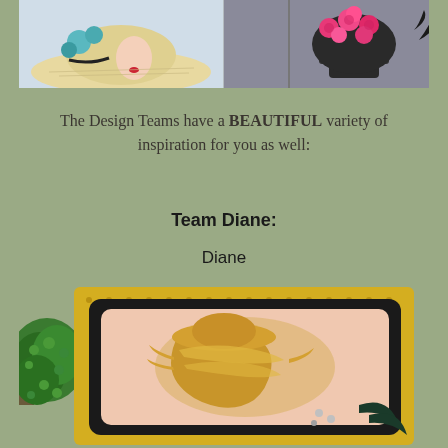[Figure (photo): Two photos side by side: left shows a woman wearing a wide-brim straw hat with teal floral decoration, right shows a black decorative urn filled with bright pink roses]
The Design Teams have a BEAUTIFUL variety of inspiration for you as well:
Team Diane:
Diane
[Figure (photo): A framed artwork in a yellow and black frame showing a golden embellished profile of a woman's head, with green topiary plants on the left side]